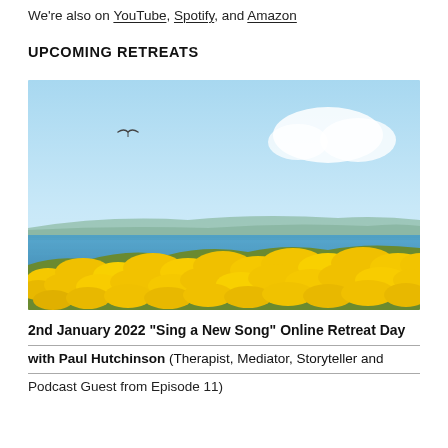We're also on YouTube, Spotify, and Amazon
UPCOMING RETREATS
[Figure (photo): Outdoor coastal scene with bright yellow flowering gorse bushes in the foreground, a blue sea in the middle distance, distant headland on the horizon, and a bright blue sky with a white cloud. A bird is visible flying in the upper left portion of the sky.]
2nd January 2022 "Sing a New Song" Online Retreat Day with Paul Hutchinson (Therapist, Mediator, Storyteller and Podcast Guest from Episode 11)